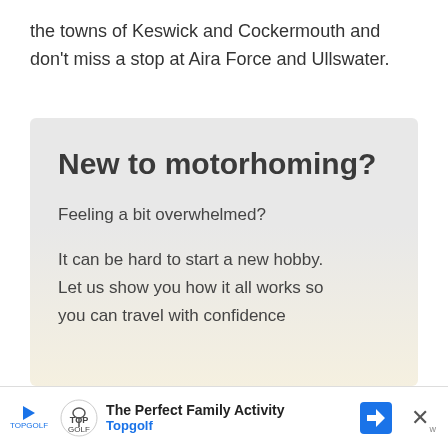the towns of Keswick and Cockermouth and don't miss a stop at Aira Force and Ullswater.
New to motorhoming?
Feeling a bit overwhelmed?
It can be hard to start a new hobby. Let us show you how it all works so you can travel with confidence
[Figure (infographic): Advertisement banner for Topgolf: 'The Perfect Family Activity' with Topgolf logo and navigation icon]